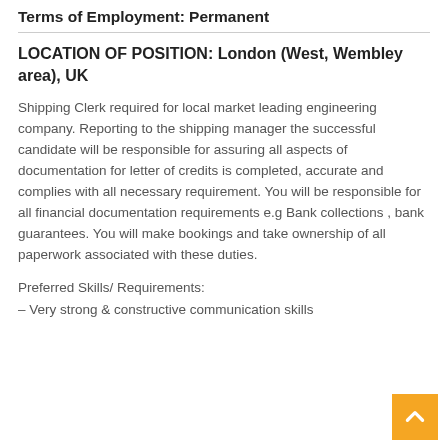Terms of Employment: Permanent
LOCATION OF POSITION: London (West, Wembley area), UK
Shipping Clerk required for local market leading engineering company. Reporting to the shipping manager the successful candidate will be responsible for assuring all aspects of documentation for letter of credits is completed, accurate and complies with all necessary requirement. You will be responsible for all financial documentation requirements e.g Bank collections , bank guarantees. You will make bookings and take ownership of all paperwork associated with these duties.
Preferred Skills/ Requirements:
– Very strong & constructive communication skills